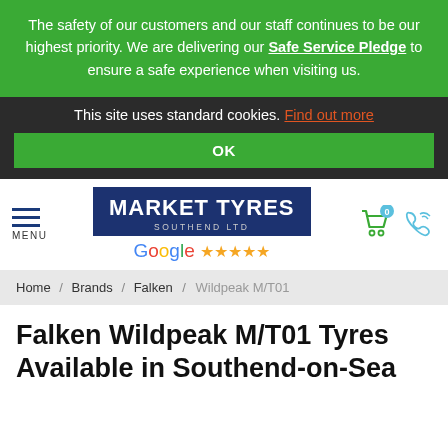The safety of our customers and our staff continues to be our highest priority. We are delivering our Safe Service Pledge to ensure a safe experience when visiting us.
This site uses standard cookies. Find out more
OK
[Figure (logo): Market Tyres Southend Ltd logo — dark blue rectangle with white bold text]
Google ★★★★★
Home / Brands / Falken / Wildpeak M/T01
Falken Wildpeak M/T01 Tyres Available in Southend-on-Sea